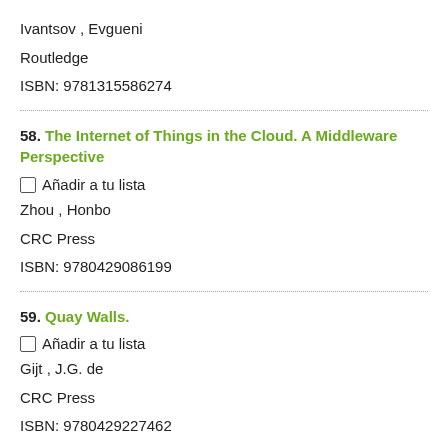Ivantsov , Evgueni
Routledge
ISBN: 9781315586274
58. The Internet of Things in the Cloud. A Middleware Perspective
Añadir a tu lista
Zhou , Honbo
CRC Press
ISBN: 9780429086199
59. Quay Walls.
Añadir a tu lista
Gijt , J.G. de
CRC Press
ISBN: 9780429227462